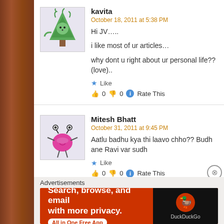kavita
October 18, 2011 at 5:38 PM
Hi JV.....
i like most of ur articles...
why dont u right about ur personal life??(love)..
Like
0  0  Rate This
Mitesh Bhatt
October 31, 2011 at 9:45 PM
Aatlu badhu kya thi laavo chho?? Budh ane Ravi var sudh
Like
0  0  Rate This
Advertisements
[Figure (infographic): DuckDuckGo advertisement banner: orange/red background with text 'Search, browse, and email with more privacy. All in One Free App' and DuckDuckGo logo on dark background]